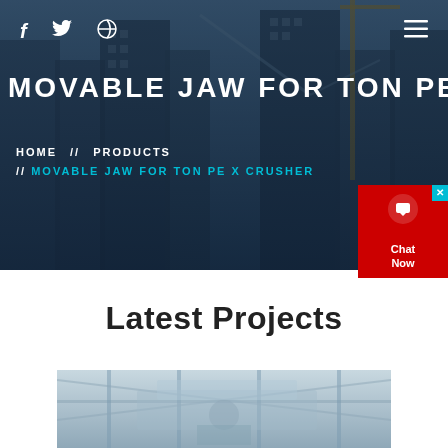f  (twitter icon)  (dribbble icon)  (hamburger menu)
MOVABLE JAW FOR TON PE X CR
HOME // PRODUCTS // MOVABLE JAW FOR TON PE X CRUSHER
[Figure (screenshot): Chat widget with red background, headset icon, and 'Chat Now' text]
Latest Projects
[Figure (photo): Industrial construction or crushing equipment photo, partial view]